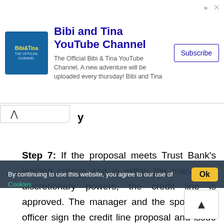[Figure (screenshot): Advertisement banner for Bibi and Tina YouTube Channel with logo, description text, and Subscribe button]
Step 7: If the proposal meets Trust Bank's lending criteria and is within the manager's discretionary powers, the credit line is approved. The manager and the sponsoring officer sign the credit line proposal and issue a sanction letter to client. If the value of the credit line is above the branch managers' limit then it is sent to head office or regional office for final sanction with detailed information regarding clients, business or purpose of the loan, security papers.